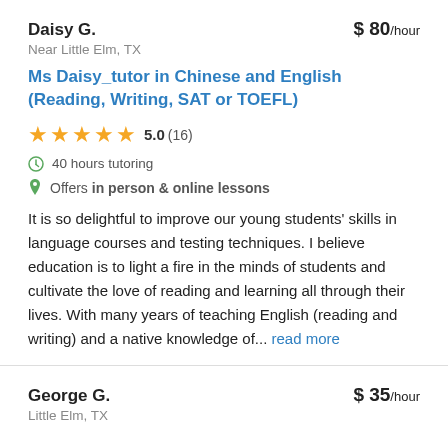Daisy G.
$ 80/hour
Near Little Elm, TX
Ms Daisy_tutor in Chinese and English (Reading, Writing, SAT or TOEFL)
5.0 (16)
40 hours tutoring
Offers in person & online lessons
It is so delightful to improve our young students' skills in language courses and testing techniques. I believe education is to light a fire in the minds of students and cultivate the love of reading and learning all through their lives. With many years of teaching English (reading and writing) and a native knowledge of... read more
George G.
$ 35/hour
Little Elm, TX